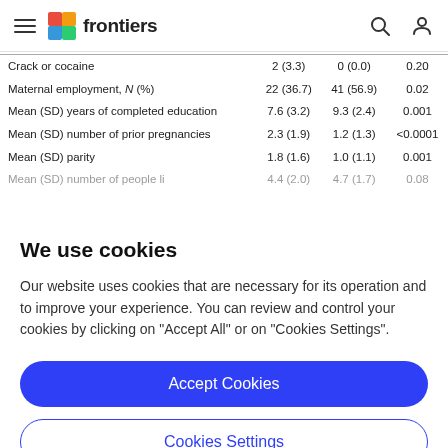frontiers
| Crack or cocaine | 2 (3.3) | 0 (0.0) | 0.20 |
| Maternal employment, N (%) | 22 (36.7) | 41 (56.9) | 0.02 |
| Mean (SD) years of completed education | 7.6 (3.2) | 9.3 (2.4) | 0.001 |
| Mean (SD) number of prior pregnancies | 2.3 (1.9) | 1.2 (1.3) | <0.0001 |
| Mean (SD) parity | 1.8 (1.6) | 1.0 (1.1) | 0.001 |
| Mean (SD) number of people living... | 4.4 (2.0) | 4.7 (1.7) | 0.08 |
We use cookies
Our website uses cookies that are necessary for its operation and to improve your experience. You can review and control your cookies by clicking on "Accept All" or on "Cookies Settings".
Accept Cookies
Cookies Settings